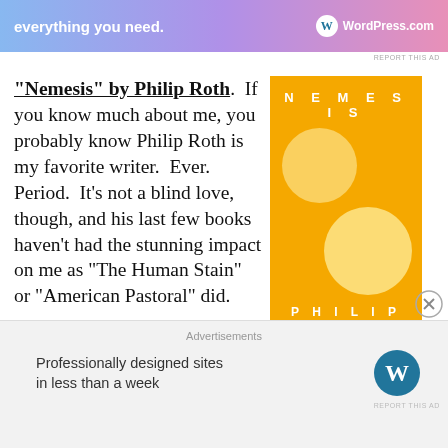[Figure (other): Top advertisement banner with gradient background (blue to purple to pink), text 'everything you need.' and WordPress.com logo]
“Nemesis” by Philip Roth. If you know much about me, you probably know Philip Roth is my favorite writer. Ever. Period. It’s not a blind love, though, and his last few books haven’t had the stunning impact on me as “The Human Stain” or “American Pastoral” did.
[Figure (illustration): Book cover of 'Nemesis' by Philip Roth. Yellow/amber background with two light circular shapes, title NEMESIS at top in white spaced letters, author name PHILIP ROTH at bottom in large white bold letters.]
Advertisements
Professionally designed sites in less than a week
[Figure (logo): WordPress.com circular W logo in bottom advertisement]